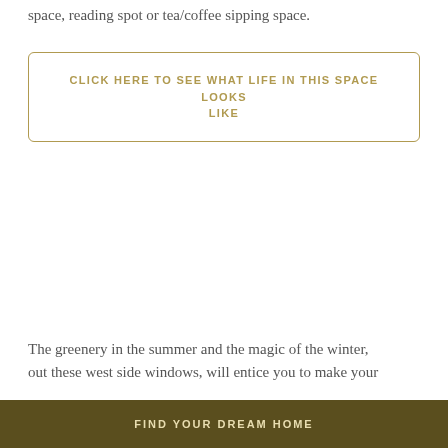space, reading spot or tea/coffee sipping space.
CLICK HERE TO SEE WHAT LIFE IN THIS SPACE LOOKS LIKE
The greenery in the summer and the magic of the winter, out these west side windows, will entice you to make your
FIND YOUR DREAM HOME